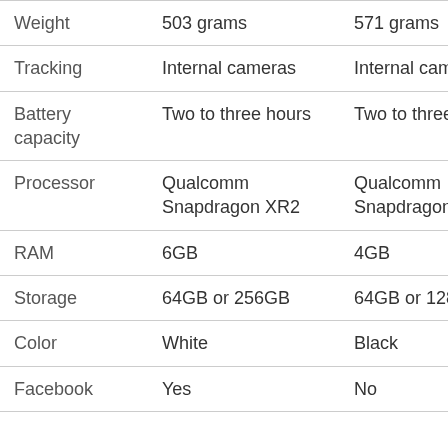|  | Column 1 | Column 2 |
| --- | --- | --- |
| Weight | 503 grams | 571 grams |
| Tracking | Internal cameras | Internal cameras |
| Battery capacity | Two to three hours | Two to three hours |
| Processor | Qualcomm Snapdragon XR2 | Qualcomm Snapdragon 835 |
| RAM | 6GB | 4GB |
| Storage | 64GB or 256GB | 64GB or 128GB |
| Color | White | Black |
| Facebook | Yes | No |